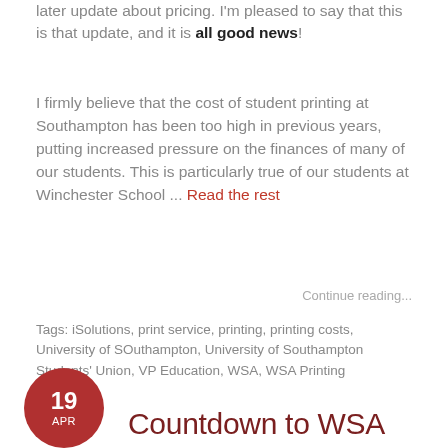later update about pricing. I'm pleased to say that this is that update, and it is all good news!
I firmly believe that the cost of student printing at Southampton has been too high in previous years, putting increased pressure on the finances of many of our students. This is particularly true of our students at Winchester School ... Read the rest
Continue reading...
Tags: iSolutions, print service, printing, printing costs, University of SOuthampton, University of Southampton Students' Union, VP Education, WSA, WSA Printing
Countdown to WSA